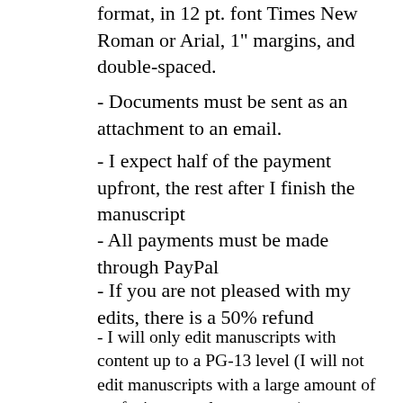format, in 12 pt. font Times New Roman or Arial, 1" margins, and double-spaced.
- Documents must be sent as an attachment to an email.
- I expect half of the payment upfront, the rest after I finish the manuscript
- All payments must be made through PayPal
- If you are not pleased with my edits, there is a 50% refund
- I will only edit manuscripts with content up to a PG-13 level (I will not edit manuscripts with a large amount of profanity, sexual scenes, etc.)
- I reserve the right to discontinue my service at any point with a 50% refund for content I am not comfortable editing